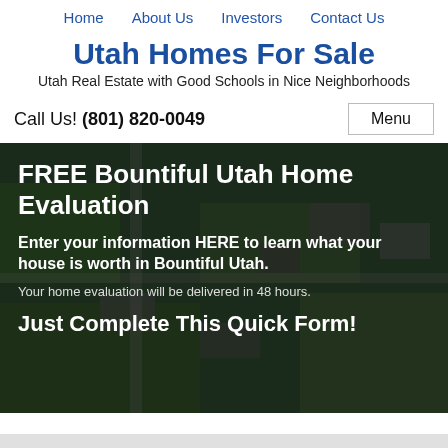Home   About Us   Investors   Contact Us
Utah Homes For Sale
Utah Real Estate with Good Schools in Nice Neighborhoods
Call Us! (801) 820-0049
[Figure (photo): Aerial view of a suburban neighborhood with houses and green yards, overlaid with dark semi-transparent background. Contains promotional text: FREE Bountiful Utah Home Evaluation — Enter your information HERE to learn what your house is worth in Bountiful Utah. Your home evaluation will be delivered in 48 hours. Just Complete This Quick Form!]